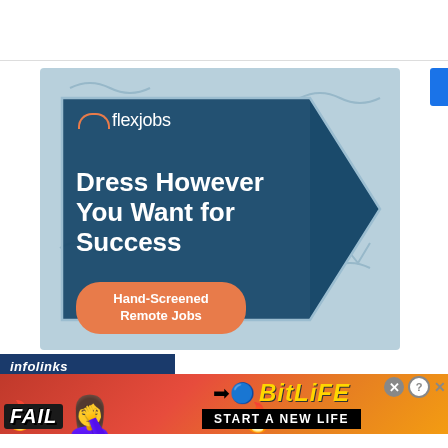[Figure (illustration): FlexJobs advertisement: dark teal arrow/pentagon shape on light blue background with text 'Dress However You Want for Success' and orange CTA button 'Hand-Screened Remote Jobs']
[Figure (illustration): BitLife advertisement banner: red/orange flame background with 'FAIL' text, facepalm emoji, flame emoji, sperm icon, 'BitLiFE' logo in yellow, 'START A NEW LIFE' text in black bar. Infolinks label above.]